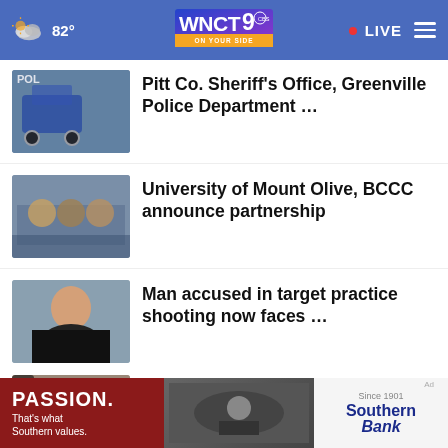82° WNCT9 ON YOUR SIDE • LIVE
[Figure (screenshot): Thumbnail image of police car - Pitt Co. Sheriff's Office news story]
Pitt Co. Sheriff's Office, Greenville Police Department …
[Figure (screenshot): Thumbnail image of people at meeting - University of Mount Olive news story]
University of Mount Olive, BCCC announce partnership
[Figure (photo): Mugshot photo - Man accused in target practice shooting news story]
Man accused in target practice shooting now faces …
[Figure (photo): Thumbnail of celebrity - Mary J. Blige story]
Mary J. Blige, George W. Bush and everyone else coming …
More Stories ›
[Figure (infographic): Southern Bank advertisement: PASSION. That's what Southern values.]